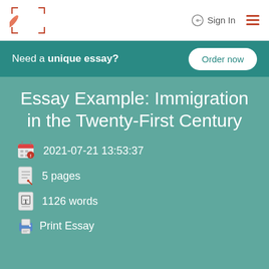Sign In
Need a unique essay? Order now
Essay Example: Immigration in the Twenty-First Century
2021-07-21 13:53:37
5 pages
1126 words
Print Essay